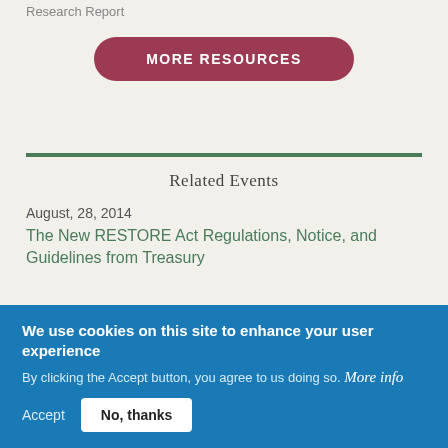Research Report
[Figure (other): MORE RESOURCES button - a pill-shaped button with dark red/maroon background and white uppercase text]
Related Events
August, 28, 2014
The New RESTORE Act Regulations, Notice, and Guidelines from Treasury
We use cookies on this site to enhance your user experience
By clicking the Accept button, you agree to us doing so. More info
Accept  No, thanks